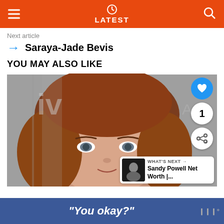LATEST
Next article
Saraya-Jade Bevis
YOU MAY ALSO LIKE
[Figure (photo): Close-up photo of a woman with auburn/reddish-brown hair, light skin, and blue-grey eyes at what appears to be a media event. Overlays include a heart button, share button, count of 1, and a 'What's Next' panel showing Sandy Powell Net Worth.]
WHAT'S NEXT → Sandy Powell Net Worth |...
“You okay?”